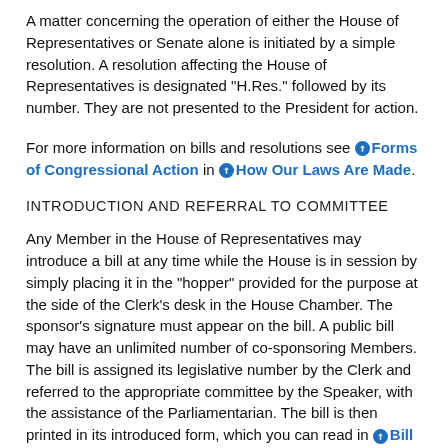A matter concerning the operation of either the House of Representatives or Senate alone is initiated by a simple resolution. A resolution affecting the House of Representatives is designated "H.Res." followed by its number. They are not presented to the President for action.
For more information on bills and resolutions see Forms of Congressional Action in How Our Laws Are Made.
INTRODUCTION AND REFERRAL TO COMMITTEE
Any Member in the House of Representatives may introduce a bill at any time while the House is in session by simply placing it in the "hopper" provided for the purpose at the side of the Clerk's desk in the House Chamber. The sponsor's signature must appear on the bill. A public bill may have an unlimited number of co-sponsoring Members. The bill is assigned its legislative number by the Clerk and referred to the appropriate committee by the Speaker, with the assistance of the Parliamentarian. The bill is then printed in its introduced form, which you can read in Bill Text. If a bill was